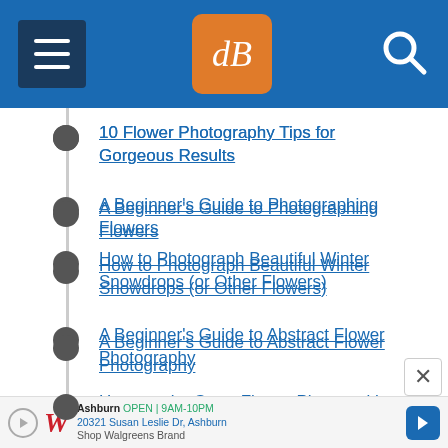dPS navigation header with menu, logo, and search
10 Flower Photography Tips for Gorgeous Results
A Beginner's Guide to Photographing Flowers
How to Photograph Beautiful Winter Snowdrops (or Other Flowers)
A Beginner's Guide to Abstract Flower Photography
How to take Great Flower Photos without a Macro Lens
How to Shoot Super Macro Photos
Ashburn OPEN | 9AM-10PM 20321 Susan Leslie Dr, Ashburn Shop Walgreens Brand